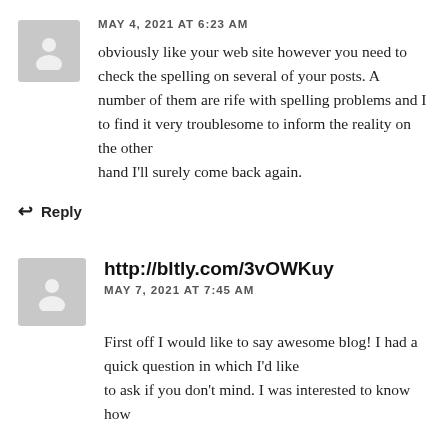MAY 4, 2021 AT 6:23 AM
obviously like your web site however you need to check the spelling on several of your posts. A number of them are rife with spelling problems and I to find it very troublesome to inform the reality on the other hand I'll surely come back again.
Reply
http://bltly.com/3vOWKuy
MAY 7, 2021 AT 7:45 AM
First off I would like to say awesome blog! I had a quick question in which I'd like to ask if you don't mind. I was interested to know how